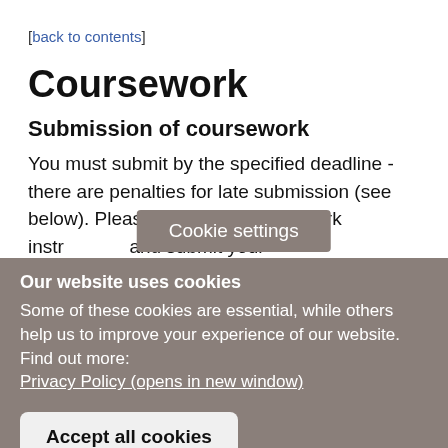[back to contents]
Coursework
Submission of coursework
You must submit by the specified deadline - there are penalties for late submission (see below). Please check the coursework instr… and submit your …
Cookie settings
Our website uses cookies
Some of these cookies are essential, while others help us to improve your experience of our website. Find out more: Privacy Policy (opens in new window)
Accept all cookies
Manage cookies